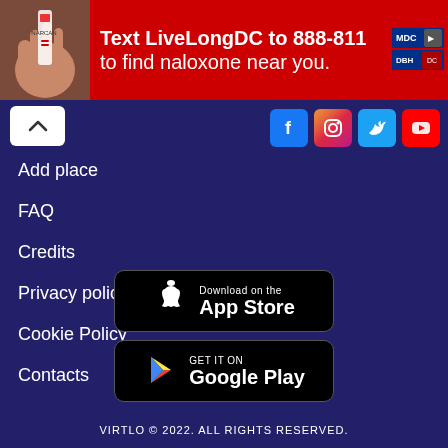[Figure (infographic): Red ad banner: Text LiveLongDC to 888-811 to find naloxone near you. With DC/DBH logos on the right.]
[Figure (infographic): Social media icons: Facebook, Instagram, Twitter, YouTube on dark navy background]
Add place
FAQ
Credits
Privacy policy
Cookie Policy
Contacts
[Figure (screenshot): Download on the App Store button (black, rounded rectangle with Apple logo)]
[Figure (screenshot): Get it on Google Play button (black, rounded rectangle with Google Play logo)]
VIRTLO © 2022. ALL RIGHTS RESERVED.